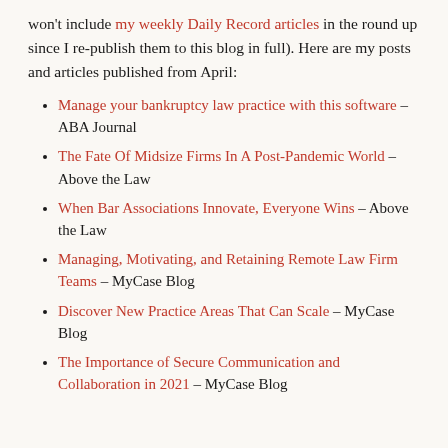won't include my weekly Daily Record articles in the round up since I re-publish them to this blog in full). Here are my posts and articles published from April:
Manage your bankruptcy law practice with this software – ABA Journal
The Fate Of Midsize Firms In A Post-Pandemic World – Above the Law
When Bar Associations Innovate, Everyone Wins – Above the Law
Managing, Motivating, and Retaining Remote Law Firm Teams – MyCase Blog
Discover New Practice Areas That Can Scale – MyCase Blog
The Importance of Secure Communication and Collaboration in 2021 – MyCase Blog